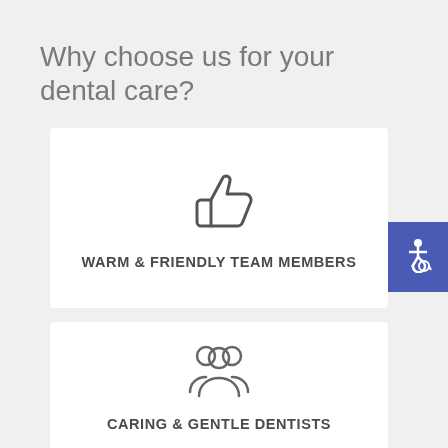Why choose us for your dental care?
[Figure (illustration): Thumbs up icon in grey outline style]
WARM & FRIENDLY TEAM MEMBERS
[Figure (illustration): Group of people / team icon in grey outline style]
CARING & GENTLE DENTISTS
[Figure (illustration): Accessibility wheelchair icon in white on blue background]